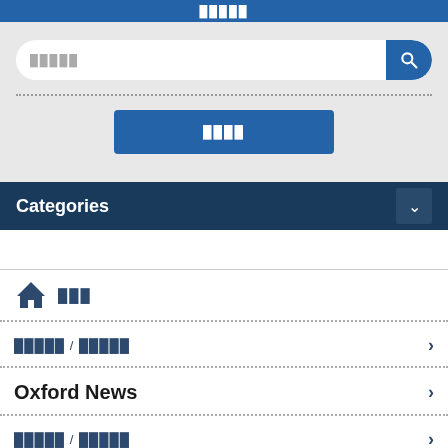█████
[Figure (screenshot): Search bar with text input field and blue search button icon on grey background, followed by a dotted separator and a blue action button with placeholder text]
Categories
███ (home icon with text)
█████ / █████
Oxford News
█████ / █████